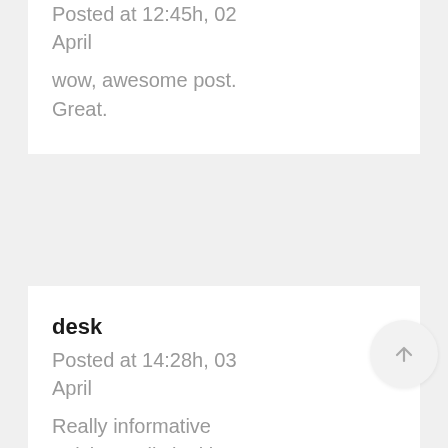Posted at 12:45h, 02 April
wow, awesome post. Great.
desk
Posted at 14:28h, 03 April
Really informative article.Really looking forward to read more.
slot
Posted at 16:33h, 04